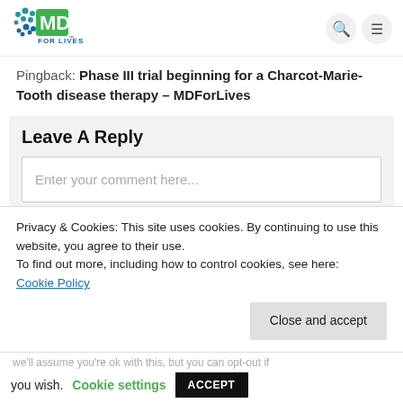[Figure (logo): MD For Lives logo — blue/green circular dot pattern with human figures and 'MD FOR LIVES™' text]
Pingback: Phase III trial beginning for a Charcot-Marie-Tooth disease therapy - MDForLives
Leave A Reply
Enter your comment here...
Privacy & Cookies: This site uses cookies. By continuing to use this website, you agree to their use.
To find out more, including how to control cookies, see here:
Cookie Policy
Close and accept
we'll assume you're ok with this, but you can opt-out if you wish.  Cookie settings  ACCEPT